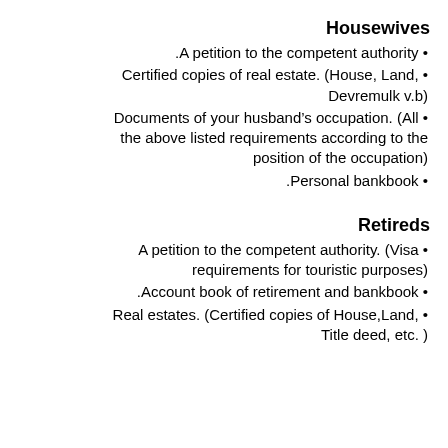Housewives
• A petition to the competent authority.
• Certified copies of real estate. (House, Land, Devremulk v.b)
• Documents of your husband's occupation. (All the above listed requirements according to the position of the occupation)
• Personal bankbook.
Retireds
• A petition to the competent authority. (Visa requirements for touristic purposes)
• Account book of retirement and bankbook.
• Real estates. (Certified copies of House,Land, Title deed, etc. )